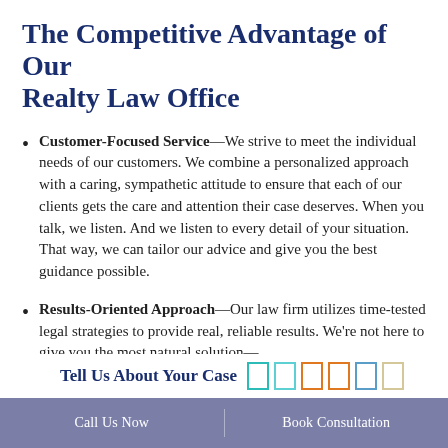The Competitive Advantage of Our Realty Law Office
Customer-Focused Service—We strive to meet the individual needs of our customers. We combine a personalized approach with a caring, sympathetic attitude to ensure that each of our clients gets the care and attention their case deserves. When you talk, we listen. And we listen to every detail of your situation. That way, we can tailor our advice and give you the best guidance possible.
Results-Oriented Approach—Our law firm utilizes time-tested legal strategies to provide real, reliable results. We're not here to give you the most natural solution—
Tell Us About Your Case
Call Us Now | Book Consultation